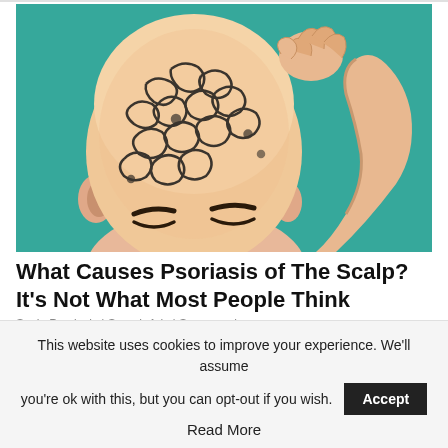[Figure (illustration): Stylized illustration of a bald person scratching their scalp with one hand raised. The scalp shows swirling patterns representing psoriasis lesions. Background is teal/turquoise. Art style is painterly with thick outlines.]
What Causes Psoriasis of The Scalp? It's Not What Most People Think
Scalp Psoriasis | Search Ads | Sponsored
This website uses cookies to improve your experience. We'll assume you're ok with this, but you can opt-out if you wish.
Accept
Read More